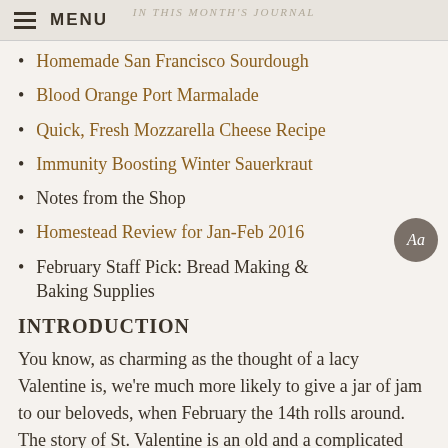IN THIS MONTH'S JOURNAL
≡ MENU
Homemade San Francisco Sourdough
Blood Orange Port Marmalade
Quick, Fresh Mozzarella Cheese Recipe
Immunity Boosting Winter Sauerkraut
Notes from the Shop
Homestead Review for Jan-Feb 2016
February Staff Pick: Bread Making & Baking Supplies
INTRODUCTION
You know, as charming as the thought of a lacy Valentine is, we're much more likely to give a jar of jam to our beloveds, when February the 14th rolls around. The story of St. Valentine is an old and a complicated